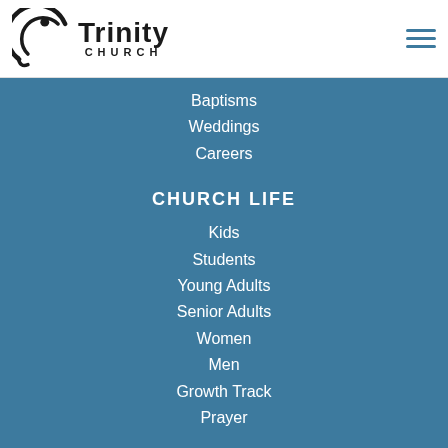[Figure (logo): Trinity Church logo with circular arc icon and text 'Trinity CHURCH']
Baptisms
Weddings
Careers
CHURCH LIFE
Kids
Students
Young Adults
Senior Adults
Women
Men
Growth Track
Prayer